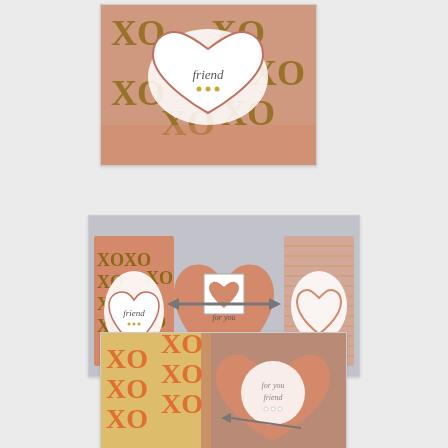[Figure (photo): Close-up photo of a handmade Valentine card with pink/salmon heart shape, XO pattern paper, and a white heart embellishment with 'friend' text and gold dots]
[Figure (photo): Wide photo showing three handmade Valentine heart cards side by side: left card has XO pattern and 'friend' heart, center card has salmon heart with arrow and 'for you' stamp, right card has striped paper with plain heart outline]
[Figure (photo): Photo of two handmade Valentine cards standing upright: left card with yellow/gold XO pattern, right card is salmon/pink scalloped heart with white circle and 'for you friend' text and arrow embellishment]